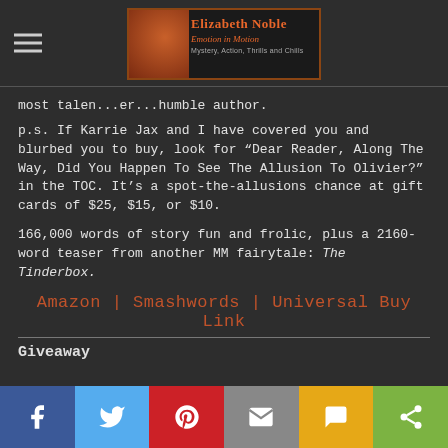Elizabeth Noble — Emotion in Motion
most talen...er...humble author.
p.s. If Karrie Jax and I have covered you and blurbed you to buy, look for “Dear Reader, Along The Way, Did You Happen To See The Allusion To Olivier?” in the TOC. It’s a spot-the-allusions chance at gift cards of $25, $15, or $10.
166,000 words of story fun and frolic, plus a 2160-word teaser from another MM fairytale: The Tinderbox.
Amazon | Smashwords | Universal Buy Link
Giveaway